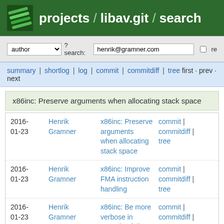projects / libav.git / search
author ? search: henrik@gramner.com re
summary | shortlog | log | commit | commitdiff | tree first · prev · next
x86inc: Preserve arguments when allocating stack space
| Date | Author | Message | Links |
| --- | --- | --- | --- |
| 2016-01-23 | Henrik Gramner | x86inc: Preserve arguments when allocating stack space | commit | commitdiff | tree |
| 2016-01-23 | Henrik Gramner | x86inc: Improve FMA instruction handling | commit | commitdiff | tree |
| 2016-01-23 | Henrik Gramner | x86inc: Be more verbose in assertion failures | commit | commitdiff | tree |
| 2016-01-23 | Henrik Gramner | x86inc: Make cpuflag() and notcpuflag() return 0 or 1 | commit | commitdiff | |